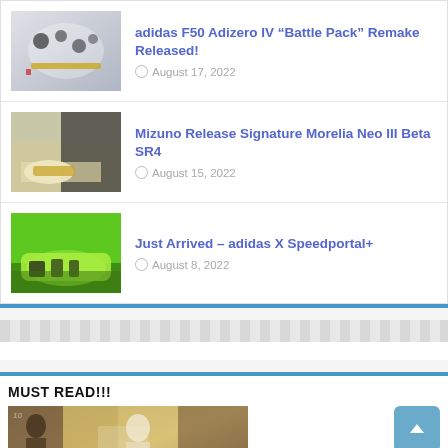[Figure (photo): Adidas F50 Adizero IV Battle Pack football boot thumbnail]
adidas F50 Adizero IV “Battle Pack” Remake Released!
August 17, 2022
[Figure (photo): Mizuno Morelia Neo III Beta SR4 football boot thumbnail]
Mizuno Release Signature Morelia Neo III Beta SR4
August 15, 2022
[Figure (photo): Adidas X Speedportal+ green football boot thumbnail]
Just Arrived – adidas X Speedportal+
August 8, 2022
MUST READ!!!
[Figure (photo): Complete Guide banner image with football players collage]